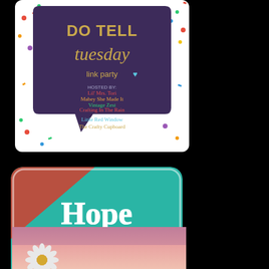[Figure (illustration): Do Tell Tuesday link party banner. Dark purple speech bubble shape with gold script text 'Do Tell tuesday link party' and a small blue heart. Below lists hosts: Lil' Mrs. Tori, Mabey She Made It, Vintage Zest, Crafting in The Rain, Little Red Window, The Crafty Cupboard. Colorful confetti sprinkles around the edges on a white background.]
[Figure (logo): Hope Studios The Blog logo. Rounded square with teal/turquoise textured background and red/brown upper left corner. White serif text reading 'Hope Studios' large, 'THE BLOG' smaller below. A butterfly silhouette visible in lower right area.]
[Figure (photo): Partial photo of a white daisy flower silhouetted against a pink and purple sunset sky. Soft gradient background with flower in lower left corner.]